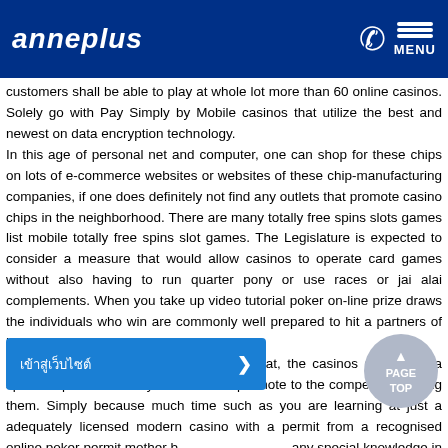anneplus | MENU
customers shall be able to play at whole lot more than 60 online casinos. Solely go with Pay Simply by Mobile casinos that utilize the best and newest on data encryption technology.
In this age of personal net and computer, one can shop for these chips on lots of e-commerce websites or websites of these chip-manufacturing companies, if one does definitely not find any outlets that promote casino chips in the neighborhood. There are many totally free spins slots games list mobile totally free spins slot games. The Legislature is expected to consider a measure that would allow casinos to operate card games without also having to run quarter pony or use races or jai alai complements. When you take up video tutorial poker on-line prize draws the individuals who win are commonly well prepared to hit a partners of huge arms.
The real way such promotions work is that, the casinos shall have a specific sport which they would like to promote to the competitors joining them. Simply because much time such as you are learning at just a adequately licensed modern casino with a permit from a recognised online poker permit mother b... any special knowledge in buy to play... d... vegas casino slots are usually obtainable as simulated slot machines for fun without having registration and download